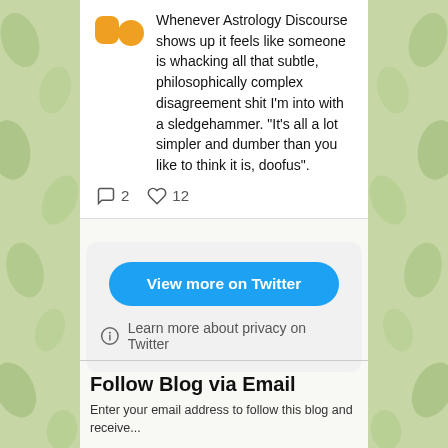[Figure (screenshot): Two orange blob/shape avatar icons representing a Twitter user profile]
Whenever Astrology Discourse shows up it feels like someone is whacking all that subtle, philosophically complex disagreement shit I'm into with a sledgehammer. "It's all a lot simpler and dumber than you like to think it is, doofus".
2 comments, 12 likes
View more on Twitter
Learn more about privacy on Twitter
Follow Blog via Email
Enter your email address to follow this blog and receive...